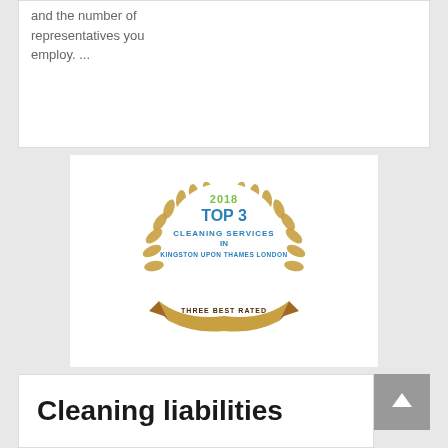and the number of representatives you employ. ...
[Figure (logo): 2018 Top 3 Cleaning Services in Kingston Upon Thames London - Three Best Rated badge with golden laurel wreath and stars]
Cleaning liabilities